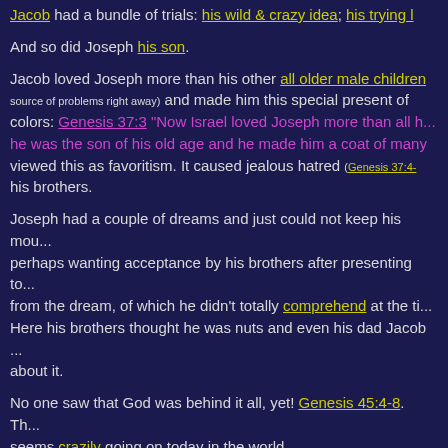Jacob had a bundle of trials: his wild & crazy idea; his trying l...
And so did Joseph his son.
Jacob loved Joseph more than his other all older male children source of problems right away) and made him this special present of colors: Genesis 37:3 "Now Israel loved Joseph more than all h... he was the son of his old age and he made him a coat of many viewed this as favoritism. It caused jealous hatred (Genesis 37:4-... his brothers.
Joseph had a couple of dreams and just could not keep his mou... perhaps wanting acceptance by his brothers after presenting to... from the dream, of which he didn't totally comprehend at the ti... Here his brothers thought he was nuts and even his dad Jacob ... about it.
No one saw that God was behind it all, yet! Genesis 45:4-8. Th... seems crazily going on today in the world.
Fathers and Moms. The Great Infinite One highly regards your children. Future avenues of childrens' lives pave out according... them. Even before conception, the atmosphere, the structure in... created. Be sure you are high quality people, that is, people of